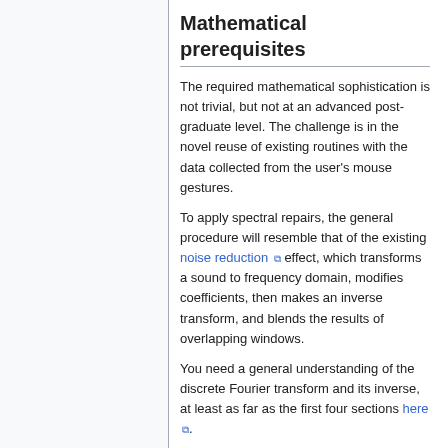Mathematical prerequisites
The required mathematical sophistication is not trivial, but not at an advanced post-graduate level. The challenge is in the novel reuse of existing routines with the data collected from the user's mouse gestures.
To apply spectral repairs, the general procedure will resemble that of the existing noise reduction effect, which transforms a sound to frequency domain, modifies coefficients, then makes an inverse transform, and blends the results of overlapping windows.
You need a general understanding of the discrete Fourier transform and its inverse, at least as far as the first four sections here.
You should understand qualitatively how window functions can be used to correct spectral leakage, and how time and frequency resolution trade off. Experiment